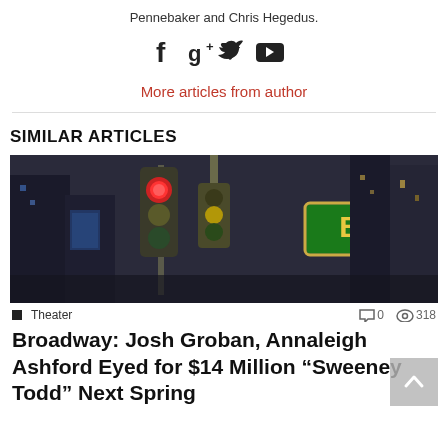Pennebaker and Chris Hegedus.
[Figure (other): Social media icons: Facebook, Google+, Twitter, YouTube]
More articles from author
SIMILAR ARTICLES
[Figure (photo): Photo of Broadway street sign with a red traffic light in a Times Square setting at night]
Theater   0   318
Broadway: Josh Groban, Annaleigh Ashford Eyed for $14 Million “Sweeney Todd” Next Spring